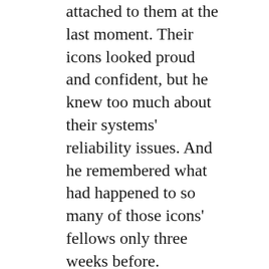attached to them at the last moment. Their icons looked proud and confident, but he knew too much about their systems' reliability issues. And he remembered what had happened to so many of those icons' fellows only three weeks before. He gazed at them another moment, then looked at Lisa, nodded once, and returned his attention to his